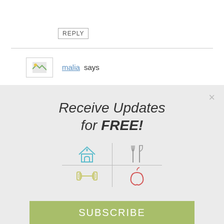REPLY
[Figure (illustration): Small broken image thumbnail placeholder]
malia says
[Figure (infographic): Popup overlay with title 'Receive Updates for FREE!', four icons (house with heart, fork and knife, dumbbell, apple) in a 2x2 grid with dividing lines, and a green SUBSCRIBE button]
Receive Updates for FREE!
SUBSCRIBE